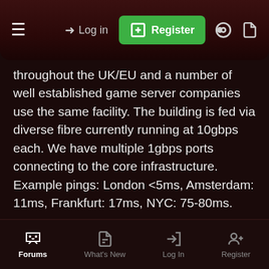Log in | Register
throughout the UK/EU and a number of well established game server companies use the same facility. The building is fed via diverse fibre currently running at 10gbps each. We have multiple 1gbps ports connecting to the core infrastructure. Example pings: London <5ms, Amsterdam: 11ms, Frankfurt: 17ms, NYC: 75-80ms.
Slow or unreliable server
I will do my best to ensure your shard is provisioned hardware in excess of your requirements, thus allowing you to grow and handle spikes in activity. Virtualised servers can be upgraded at very short notice. At the time of writing 32 Xeon cores, 96GB of RAM and >1TB of disk capacity is available to the project.
Server offline, can't contact host
Forums | What's New | Log In | Register